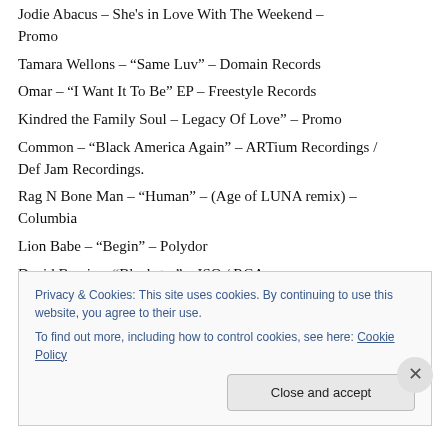Jodie Abacus – She's in Love With The Weekend – Promo
Tamara Wellons – “Same Luv” – Domain Records
Omar – “I Want It To Be” EP – Freestyle Records
Kindred the Family Soul – Legacy Of Love” – Promo
Common – “Black America Again” – ARTium Recordings / Def Jam Recordings.
Rag N Bone Man – “Human” – (Age of LUNA remix) – Columbia
Lion Babe – “Begin” – Polydor
David Bowie – “Blackstar” – ISO / RCA
Privacy & Cookies: This site uses cookies. By continuing to use this website, you agree to their use.
To find out more, including how to control cookies, see here: Cookie Policy